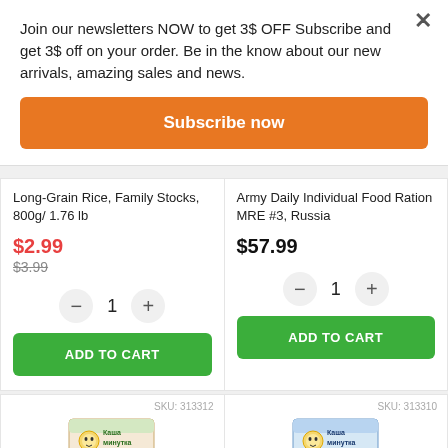Join our newsletters NOW to get 3$ OFF Subscribe and get 3$ off on your order. Be in the know about our new arrivals, amazing sales and news.
× (close button)
Subscribe now
Long-Grain Rice, Family Stocks, 800g/ 1.76 lb
$2.99
$3.99
ADD TO CART
Army Daily Individual Food Ration MRE #3, Russia
$57.99
ADD TO CART
SKU: 313312
SKU: 313310
[Figure (photo): Kasha Minutka product box illustration (left)]
[Figure (photo): Kasha Minutka product box illustration (right)]